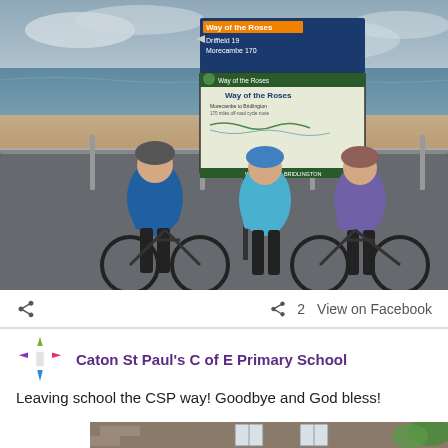[Figure (photo): Three cyclists with bikes standing next to a 'Way of the Roses' signpost near a beach/seafront. The sign shows directions to Driffield (19) and Morecambe (170). The background shows sea, beach and cloudy sky. A 'Welcome to Bridlington' map board is also visible on the sign.]
2   View on Facebook
Caton St Paul's C of E Primary School
Leaving school the CSP way! Goodbye and God bless!
[Figure (photo): Partial photo of a school building with stone facade, partially visible at the bottom of the page.]